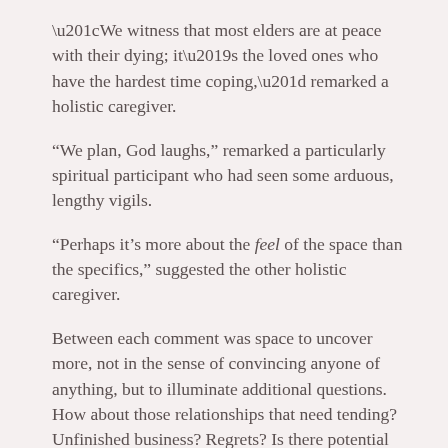“We witness that most elders are at peace with their dying; it’s the loved ones who have the hardest time coping,” remarked a holistic caregiver.
“We plan, God laughs,” remarked a particularly spiritual participant who had seen some arduous, lengthy vigils.
“Perhaps it’s more about the feel of the space than the specifics,” suggested the other holistic caregiver.
Between each comment was space to uncover more, not in the sense of convincing anyone of anything, but to illuminate additional questions. How about those relationships that need tending? Unfinished business? Regrets? Is there potential for resolving issues now, while there’s time? How can we create plans that incorporate the needs of loved ones, knowing this can lift a burden off the person dying? How can we respectfully approach these conversations with